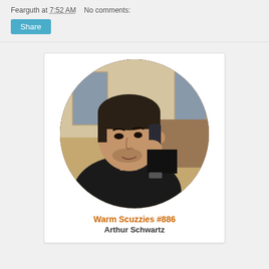Fearguth at 7:52 AM    No comments:
Share
[Figure (photo): A man in a dark shirt talking on a cell phone, photo displayed in a circular crop with brown background, inside a white card.]
Warm Scuzzies #886
Arthur Schwartz